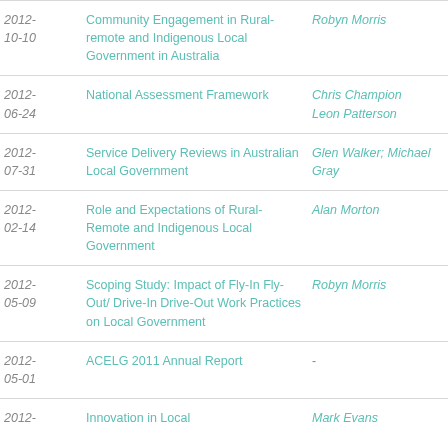| Date | Title | Author |
| --- | --- | --- |
| 2012-10-10 | Community Engagement in Rural-remote and Indigenous Local Government in Australia | Robyn Morris |
| 2012-06-24 | National Assessment Framework | Chris Champion Leon Patterson |
| 2012-07-31 | Service Delivery Reviews in Australian Local Government | Glen Walker; Michael Gray |
| 2012-02-14 | Role and Expectations of Rural-Remote and Indigenous Local Government | Alan Morton |
| 2012-05-09 | Scoping Study: Impact of Fly-In Fly-Out/ Drive-In Drive-Out Work Practices on Local Government | Robyn Morris |
| 2012-05-01 | ACELG 2011 Annual Report | - |
| 2012- | Innovation in Local | Mark Evans |